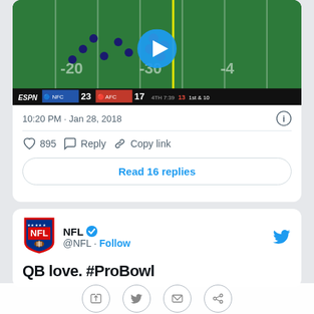[Figure (screenshot): ESPN NFL Pro Bowl broadcast screenshot showing NFC 23 vs AFC 17, 4th quarter, 7:39 remaining, 1st & 10]
10:20 PM · Jan 28, 2018
895  Reply  Copy link
Read 16 replies
[Figure (logo): NFL shield logo]
NFL @NFL · Follow
QB love. #ProBowl